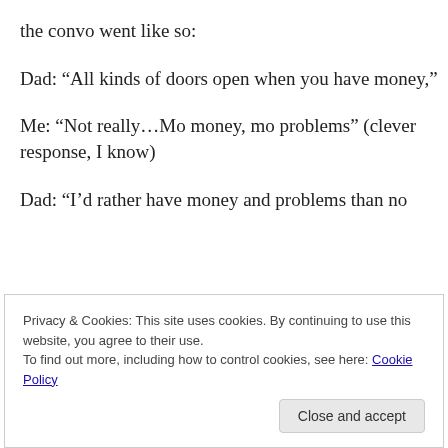the convo went like so:
Dad: “All kinds of doors open when you have money,”
Me: “Not really…Mo money, mo problems” (clever response, I know)
Dad: “I’d rather have money and problems than no
Privacy & Cookies: This site uses cookies. By continuing to use this website, you agree to their use.
To find out more, including how to control cookies, see here: Cookie Policy